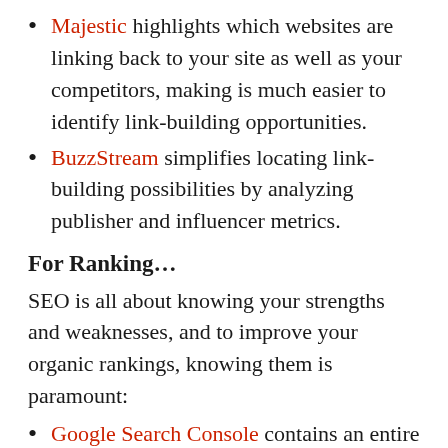Majestic highlights which websites are linking back to your site as well as your competitors, making is much easier to identify link-building opportunities.
BuzzStream simplifies locating link-building possibilities by analyzing publisher and influencer metrics.
For Ranking…
SEO is all about knowing your strengths and weaknesses, and to improve your organic rankings, knowing them is paramount:
Google Search Console contains an entire suite of tools to measure your website's performance, and even though keyword data is somewhat limited, it's easy to view which keywords and phrases you're